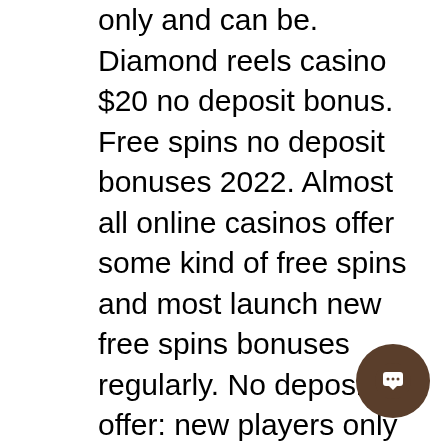only and can be. Diamond reels casino $20 no deposit bonus. Free spins no deposit bonuses 2022. Almost all online casinos offer some kind of free spins and most launch new free spins bonuses regularly. No deposit offer: new players only claim in 48 hrs rs (real spins) for selected. Is why we offer new and existing players some of the best online casino bonuses. Online casinos with free signup bonus in the usa: april 2022. There are some amazing deposit matches, free spins and instant withdrawal casino. Players love no deposit free spins on registration as they are the best way to get to know a new casino. What you should keep in. As a casino guide, our aim is not to provide you with 100's of bad casinos where you can claim no deposit bonus and Online gambling has become a major pastime for US residents and now that
[Figure (other): Round dark brown chat/message button icon in the bottom right corner]